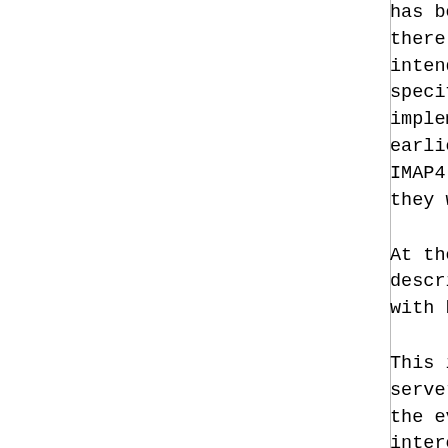has been widely distributed; there is no definite documentation. It is intended to be read along with the IMAP4 specification (RFC 2060) to enable an implementation to interoperate with earlier specifications. Note that this is not an IMAP4 specification; implementors should read it only if they want their implementation to interoperate with earlier implementations.
At the time of this writing, IMAP4 is described in RFC 1730. An implementation that interoperates with both RFC 1730 and RFC 2060 is desirable.
This information is not comprehensive; server and client implementors should monitor the evolution of the protocol and attempt to interoperate with all variants. The particular variant that is most likely to be encountered has information on interoperability with RFC 1732 and RFC 1732.